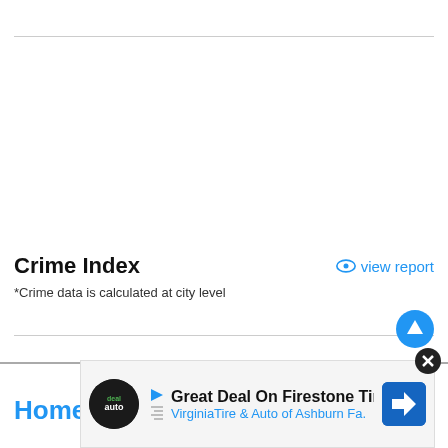Crime Index
view report
*Crime data is calculated at city level
Home
[Figure (screenshot): Advertisement banner: Great Deal On Firestone Tires - VirginiaTire & Auto of Ashburn Fa.]